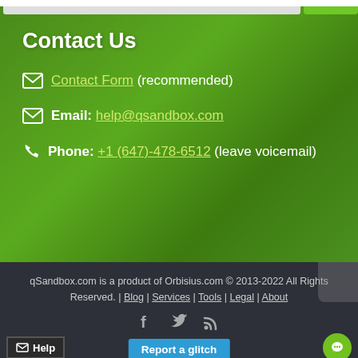Contact Us
Contact Form (recommended)
Email: help@qsandbox.com
Phone: +1 (647)-478-6512 (leave voicemail)
qSandbox.com is a product of Orbisius.com © 2013-2022 All Rights Reserved. | Blog | Services | Tools | Legal | About